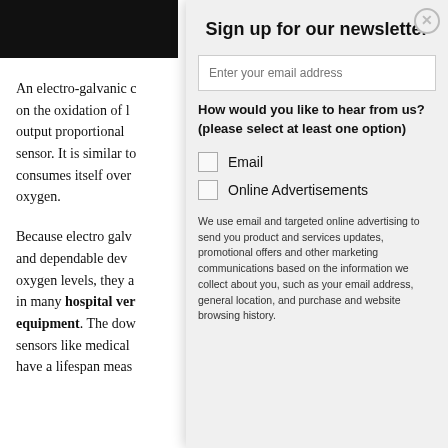[Figure (photo): Dark/black rectangular image at top left of article]
An electro-galvanic c... on the oxidation of l... output proportional ... sensor. It is similar to... consumes itself over... oxygen.
Because electro galv... and dependable dev... oxygen levels, they a... in many hospital ver... equipment. The dow... sensors like medical ... have a lifespan meas...
Sign up for our newsletter
Enter your email address
How would you like to hear from us? (please select at least one option)
Email
Online Advertisements
We use email and targeted online advertising to send you product and services updates, promotional offers and other marketing communications based on the information we collect about you, such as your email address, general location, and purchase and website browsing history.